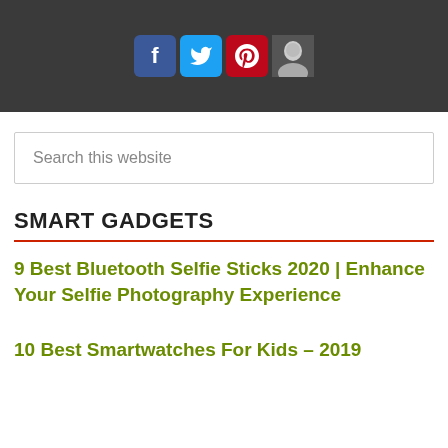[Figure (screenshot): Dark banner with social media icons: Facebook (blue), Twitter (light blue), Pinterest (red), and a user avatar photo]
Search this website
SMART GADGETS
9 Best Bluetooth Selfie Sticks 2020 | Enhance Your Selfie Photography Experience
10 Best Smartwatches For Kids – 2019